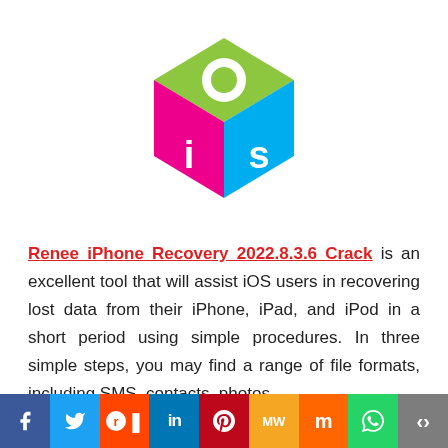[Figure (logo): iOS cube logo with green top face showing 'o', pink left face showing 'i', and blue right face showing 's']
Renee iPhone Recovery 2022.8.3.6 Crack is an excellent tool that will assist iOS users in recovering lost data from their iPhone, iPad, and iPod in a short period using simple procedures. In three simple steps, you may find a range of file formats, including SMS, contacts, photos